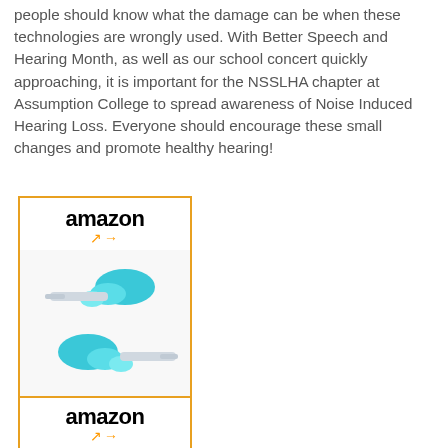people should know what the damage can be when these technologies are wrongly used. With Better Speech and Hearing Month, as well as our school concert quickly approaching, it is important for the NSSLHA chapter at Assumption College to spread awareness of Noise Induced Hearing Loss. Everyone should encourage these small changes and promote healthy hearing!
[Figure (screenshot): Amazon product listing for Etymotic Research earplugs priced at $13.95 with a 'Shop now' button, showing two teal/blue ear plugs with clear stems.]
[Figure (screenshot): Second Amazon product listing card showing the Amazon logo, partially visible at bottom of page.]